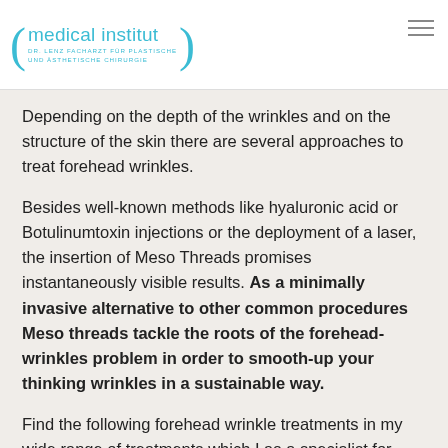medical institut — DR. LENZ FACHARZT FÜR PLASTISCHE UND ÄSTHETISCHE CHIRURGIE
Depending on the depth of the wrinkles and on the structure of the skin there are several approaches to treat forehead wrinkles.
Besides well-known methods like hyaluronic acid or Botulinumtoxin injections or the deployment of a laser, the insertion of Meso Threads promises instantaneously visible results. As a minimally invasive alternative to other common procedures Meso threads tackle the roots of the forehead-wrinkles problem in order to smooth-up your thinking wrinkles in a sustainable way.
Find the following forehead wrinkle treatments in my wide range of treatments which I as a specialist for plastic and aesthetic surgery offer in my practice in Munich